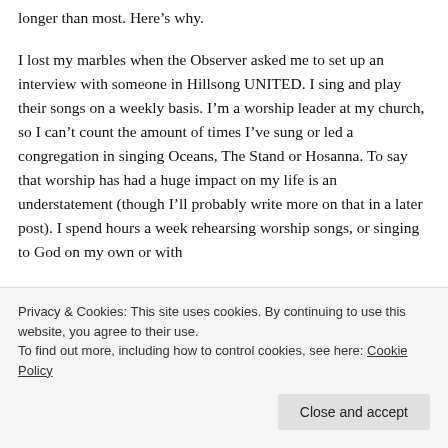longer than most. Here's why.
I lost my marbles when the Observer asked me to set up an interview with someone in Hillsong UNITED. I sing and play their songs on a weekly basis. I'm a worship leader at my church, so I can't count the amount of times I've sung or led a congregation in singing Oceans, The Stand or Hosanna. To say that worship has had a huge impact on my life is an understatement (though I'll probably write more on that in a later post). I spend hours a week rehearsing worship songs, or singing to God on my own or with
Privacy & Cookies: This site uses cookies. By continuing to use this website, you agree to their use.
To find out more, including how to control cookies, see here: Cookie Policy